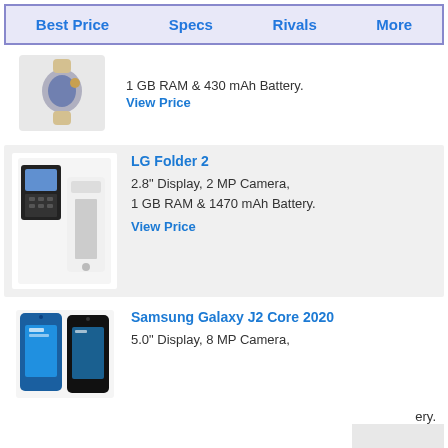Best Price | Specs | Rivals | More
1 GB RAM & 430 mAh Battery.
View Price
LG Folder 2
2.8" Display, 2 MP Camera, 1 GB RAM & 1470 mAh Battery.
View Price
Samsung Galaxy J2 Core 2020
5.0" Display, 8 MP Camera,
ery.